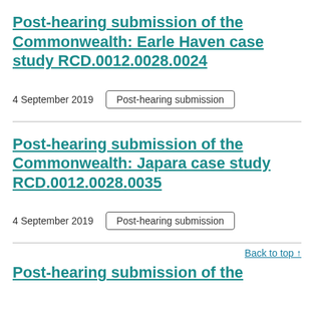Post-hearing submission of the Commonwealth: Earle Haven case study RCD.0012.0028.0024
4 September 2019   Post-hearing submission
Post-hearing submission of the Commonwealth: Japara case study RCD.0012.0028.0035
4 September 2019   Post-hearing submission
Back to top ↑
Post-hearing submission of the